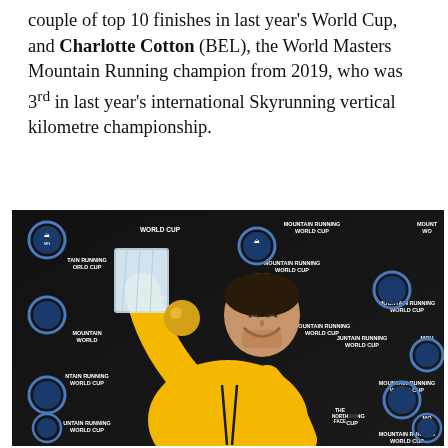couple of top 10 finishes in last year's World Cup, and Charlotte Cotton (BEL), the World Masters Mountain Running champion from 2019, who was 3rd in last year's international Skyrunning vertical kilometre championship.
[Figure (photo): A man in a yellow North Face hoodie joyfully pretending to drink from a large crystal trophy, posing in front of a Mountain Running World Cup branded backdrop with logos and text repeated across a black background.]